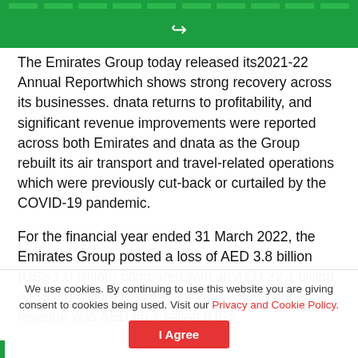[Figure (other): Green navigation bar with segmented blocks at top of page]
[Figure (other): Green share/action bar with share arrow icon]
The Emirates Group today released its2021-22 Annual Reportwhich shows strong recovery across its businesses. dnata returns to profitability, and significant revenue improvements were reported across both Emirates and dnata as the Group rebuilt its air transport and travel-related operations which were previously cut-back or curtailed by the COVID-19 pandemic.
For the financial year ended 31 March 2022, the Emirates Group posted a loss of AED 3.8 billion (US$ 1.0 billion) compared with an AED 22.1 billion (US$ 6.0 billion) loss for last year. The Group's revenue was AED 66.2 billion (US$
We use cookies. By continuing to use this website you are giving consent to cookies being used. Visit our Privacy and Cookie Policy.
I Agree